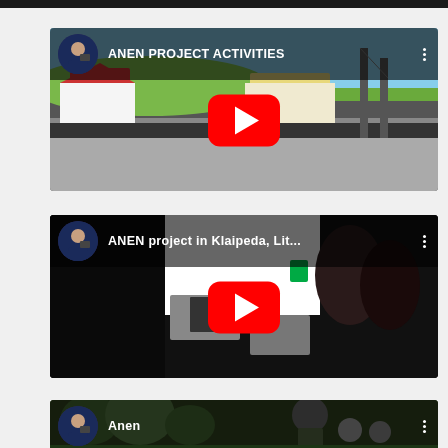[Figure (screenshot): YouTube video thumbnail for 'ANEN PROJECT ACTIVITIES' showing an outdoor waterfront scene with buildings under a blue sky, with a YouTube play button overlay and channel avatar]
[Figure (screenshot): YouTube video thumbnail for 'ANEN project in Klaipeda, Lit...' showing an indoor scene with people and laptops, with a YouTube play button overlay and channel avatar]
[Figure (screenshot): YouTube video thumbnail for 'Anen' showing an outdoor nature scene with people, partially visible, with channel avatar]